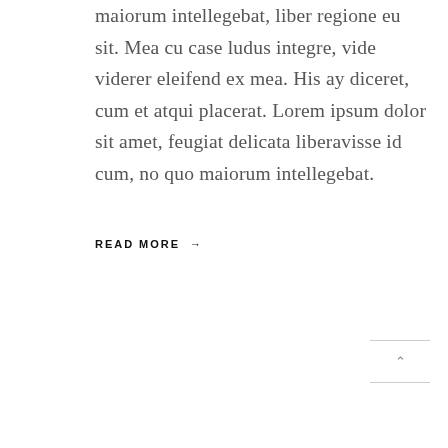maiorum intellegebat, liber regione eu sit. Mea cu case ludus integre, vide viderer eleifend ex mea. His ay diceret, cum et atqui placerat. Lorem ipsum dolor sit amet, feugiat delicata liberavisse id cum, no quo maiorum intellegebat.
READ MORE →